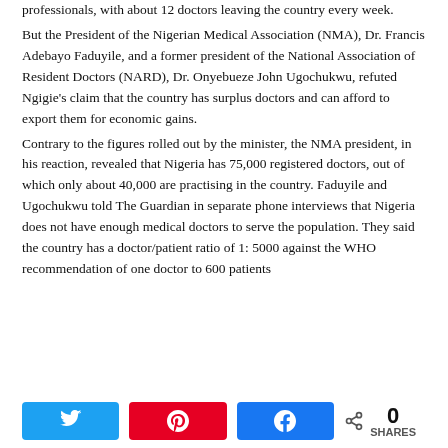professionals, with about 12 doctors leaving the country every week.
But the President of the Nigerian Medical Association (NMA), Dr. Francis Adebayo Faduyile, and a former president of the National Association of Resident Doctors (NARD), Dr. Onyebueze John Ugochukwu, refuted Ngigie's claim that the country has surplus doctors and can afford to export them for economic gains.
Contrary to the figures rolled out by the minister, the NMA president, in his reaction, revealed that Nigeria has 75,000 registered doctors, out of which only about 40,000 are practising in the country. Faduyile and Ugochukwu told The Guardian in separate phone interviews that Nigeria does not have enough medical doctors to serve the population. They said the country has a doctor/patient ratio of 1: 5000 against the WHO recommendation of one doctor to 600 patients
[Figure (infographic): Social sharing bar with Twitter, Pinterest, and Facebook buttons, and a share count of 0 SHARES]